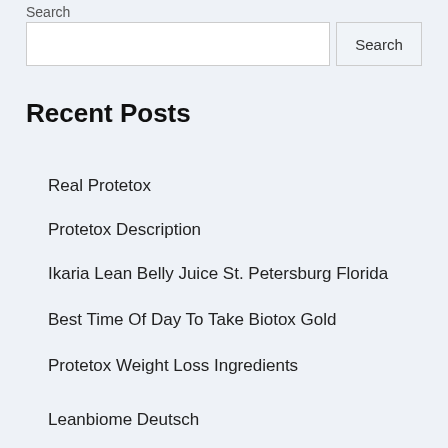Search
Search input and button
Recent Posts
Real Protetox
Protetox Description
Ikaria Lean Belly Juice St. Petersburg Florida
Best Time Of Day To Take Biotox Gold
Protetox Weight Loss Ingredients
Leanbiome Deutsch